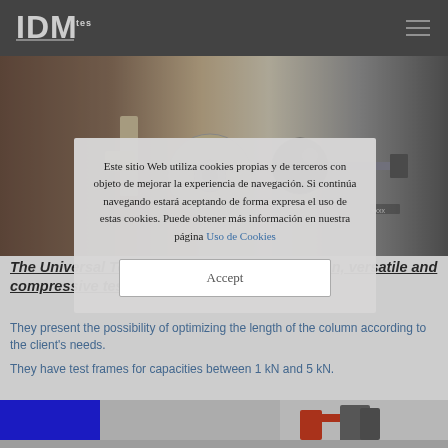IDM test
[Figure (photo): Close-up photo of universal testing machine components, showing cylindrical grips and attachment hardware on a dark background]
The Universal Testing Machine with one ... versatile and compressive testing:
They present the possibility of optimizing the length of the column according to the client's needs.
They have test frames for capacities between 1 kN and 5 kN.
[Figure (photo): Bottom portion of universal testing machine showing blue panel and red mechanical component]
Este sitio Web utiliza cookies propias y de terceros con objeto de mejorar la experiencia de navegación. Si continúa navegando estará aceptando de forma expresa el uso de estas cookies. Puede obtener más información en nuestra página Uso de Cookies
Accept